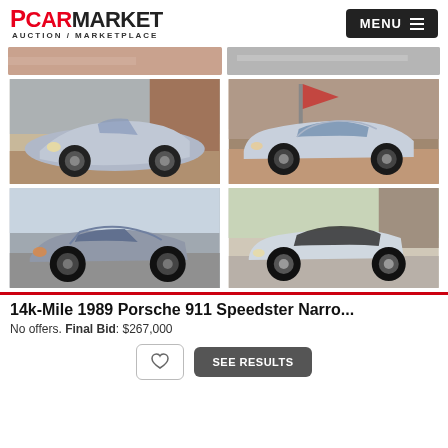PCARMARKET AUCTION / MARKETPLACE
[Figure (photo): Six photos of a 1989 Porsche 911 Speedster Narrowbody in silver, shown from various angles including front three-quarter, side, and rear three-quarter views. Two rows of two full images and two partially cropped images at the top.]
14k-Mile 1989 Porsche 911 Speedster Narro...
No offers. Final Bid: $267,000